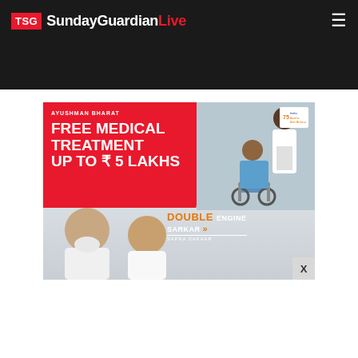TSG SundayGuardianLive
[Figure (advertisement): Ayushman Bharat government health scheme advertisement banner. Red background with white text: 'AYUSHMAN BHARAT FREE MEDICAL TREATMENT UP TO ₹5 LAKHS'. Orange text: 'DOUBLE ENGINE SARKAR'. Two political leaders portrayed at bottom left, patient in wheelchair with nurse at right. 'SAPNA SAKAAR' branding at bottom.]